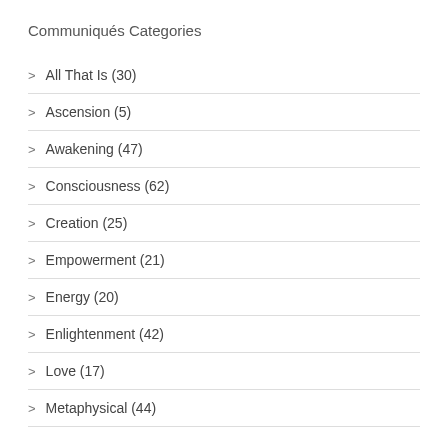Communiqués Categories
> All That Is (30)
> Ascension (5)
> Awakening (47)
> Consciousness (62)
> Creation (25)
> Empowerment (21)
> Energy (20)
> Enlightenment (42)
> Love (17)
> Metaphysical (44)